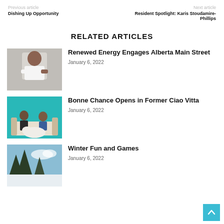Previous article | Next article
Dishing Up Opportunity
Resident Spotlight: Karis Stoudamire-Phillips
RELATED ARTICLES
[Figure (photo): Man in white shirt smiling with arms crossed, standing in front of a concrete wall]
Renewed Energy Engages Alberta Main Street
January 6, 2022
[Figure (photo): Two people seated on a couch inside a teal-walled room with a dog in front of them]
Bonne Chance Opens in Former Ciao Vitta
January 6, 2022
[Figure (photo): Outdoor winter scene with trees and blue sky]
Winter Fun and Games
January 6, 2022